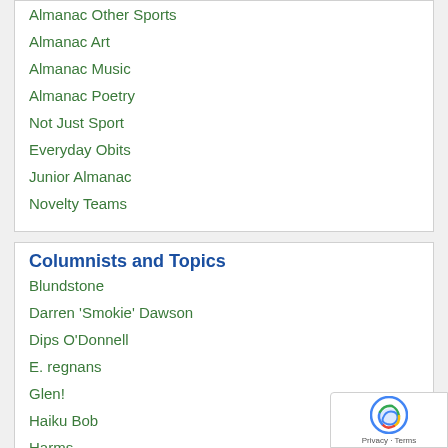Almanac Other Sports
Almanac Art
Almanac Music
Almanac Poetry
Not Just Sport
Everyday Obits
Junior Almanac
Novelty Teams
Columnists and Topics
Blundstone
Darren 'Smokie' Dawson
Dips O'Donnell
E. regnans
Glen!
Haiku Bob
Harms
KB Hill
Kevin Densley
Malcolm 'Rulebook' Ashwood
Mathilde de Hauteclocque
Matt Zurbo